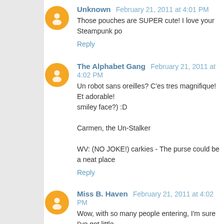Unknown February 21, 2011 at 4:01 PM
Those pouches are SUPER cute! I love your Steampunk po...
Reply
The Alphabet Gang February 21, 2011 at 4:02 PM
Un robot sans oreilles? C'es tres magnifique! Et adorable!... smiley face?) :D
Carmen, the Un-Stalker
WV: (NO JOKE!) carkies - The purse could be a neat place...
Reply
Miss B. Haven February 21, 2011 at 4:02 PM
Wow, with so many people entering, I'm sure I've got little... wobot ever come live with her, no matter how small the cha...
Reply
twilightbella February 21, 2011 at 4:02 PM
cute!